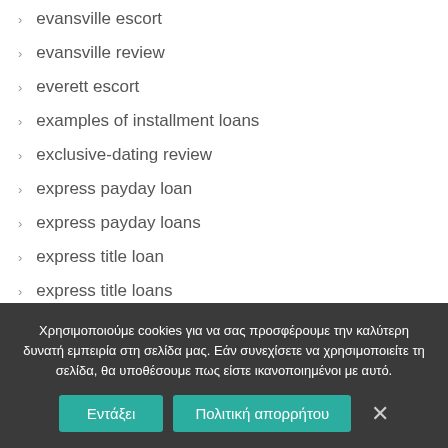evansville escort
evansville review
everett escort
examples of installment loans
exclusive-dating review
express payday loan
express payday loans
express title loan
express title loans
Χρησιμοποιούμε cookies για να σας προσφέρουμε την καλύτερη δυνατή εμπειρία στη σελίδα μας. Εάν συνεχίσετε να χρησιμοποιείτε τη σελίδα, θα υποθέσουμε πως είστε ικανοποιημένοι με αυτό.
Εντάξει | Πολιτική απορρήτου